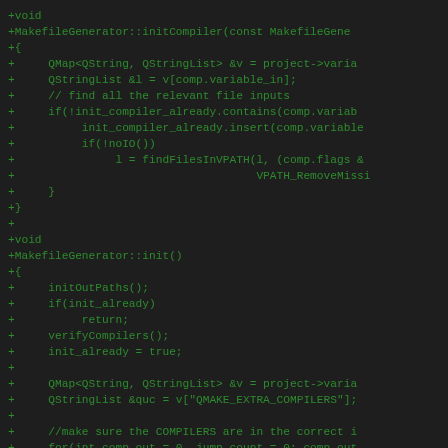+void
+MakefileGenerator::initCompiler(const MakefileGene
+{
+     QMap<QString, QStringList> &v = project->varia
+     QStringList &l = v[comp.variable_in];
+     // find all the relevant file inputs
+     if(!init_compiler_already.contains(comp.variab
+          init_compiler_already.insert(comp.variable
+          if(!noIO())
+               l = findFilesInVPATH(l, (comp.flags &
+                                    VPATH_RemoveMissi
+     }
+}
+
+void
+MakefileGenerator::init()
+{
+     initOutPaths();
+     if(init_already)
+          return;
+     verifyCompilers();
+     init_already = true;
+
+     QMap<QString, QStringList> &v = project->varia
+     QStringList &quc = v["QMAKE_EXTRA_COMPILERS"];
+
+     //make sure the COMPILERS are in the correct i
+     for(int comp_out = 0, jump_count = 0; comp_out
+     continue_compiler_chain:
+          if(jump_count > quc.size()) //just to avo